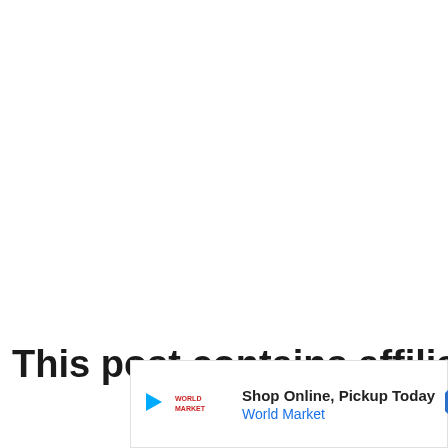This post contains affiliate links
[Figure (other): Advertisement banner: Shop Online, Pickup Today - World Market. Contains a play button icon, World Market logo (red text), text content, and a blue diamond-shaped navigation arrow icon on the right.]